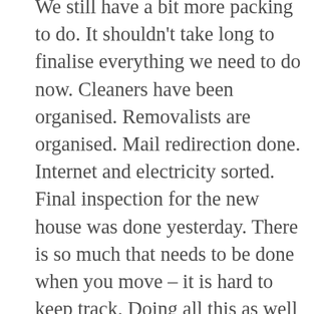We still have a bit more packing to do. It shouldn't take long to finalise everything we need to do now. Cleaners have been organised. Removalists are organised. Mail redirection done. Internet and electricity sorted. Final inspection for the new house was done yesterday. There is so much that needs to be done when you move – it is hard to keep track. Doing all this as well as cleaning each room thoroughly, running a business and working more than full time hours – life has been very hectic.  Kyah is not quite as busy as I am, but she has helped a bit with stuff. Tomorrow is settlement day. It will be all systems go from tonight. I have friends lending me their vehicle and trailer. I will pack the trailer tonight, the car tomorrow (in between clients). Kevin arrives at 12 noon. Kyah will pick him up, they are meeting the owners at the house to do the key exchange, then the painting of Kyah's bedroom will start, unpacking the trailer, laying the gym flooring, hanging punching bags, speed balls etc.  By the end of the week we will be totally moved out of here and in our new home. Big